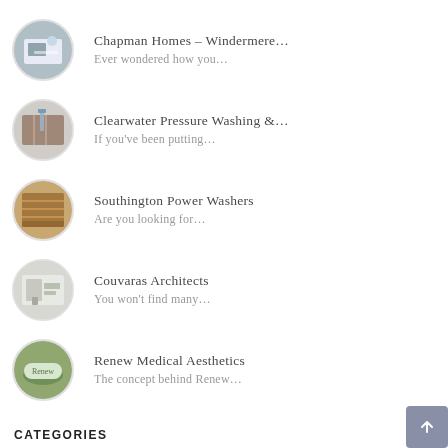Chapman Homes – Windermere… Ever wondered how you…
Clearwater Pressure Washing &… If you've been putting…
Southington Power Washers Are you looking for…
Couvaras Architects You won't find many…
Renew Medical Aesthetics The concept behind Renew…
CATEGORIES
Animals and Pets
Arts and Entertainment
Automotive